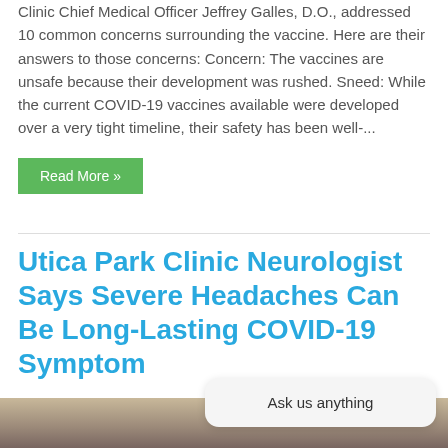Clinic Chief Medical Officer Jeffrey Galles, D.O., addressed 10 common concerns surrounding the vaccine. Here are their answers to those concerns: Concern: The vaccines are unsafe because their development was rushed. Sneed: While the current COVID-19 vaccines available were developed over a very tight timeline, their safety has been well-...
Read More »
Utica Park Clinic Neurologist Says Severe Headaches Can Be Long-Lasting COVID-19 Symptom
[Figure (photo): Photo of a person (partial, lower portion visible) in what appears to be a medical or office setting]
Ask us anything